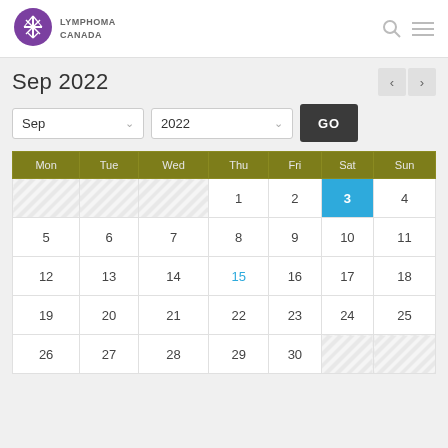[Figure (logo): Lymphoma Canada logo with purple circle and white tree/snowflake icon, text LYMPHOMA CANADA]
Sep 2022
Sep 2022 dropdown selector, GO button
| Mon | Tue | Wed | Thu | Fri | Sat | Sun |
| --- | --- | --- | --- | --- | --- | --- |
|  |  |  | 1 | 2 | 3 | 4 |
| 5 | 6 | 7 | 8 | 9 | 10 | 11 |
| 12 | 13 | 14 | 15 | 16 | 17 | 18 |
| 19 | 20 | 21 | 22 | 23 | 24 | 25 |
| 26 | 27 | 28 | 29 | 30 |  |  |